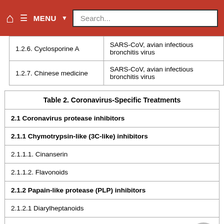🏠  ≡ MENU ▼  Search...
|  |  |
| --- | --- |
| 1.2.6. Cyclosporine A | SARS-CoV, avian infectious bronchitis virus |
| 1.2.7. Chinese medicine | SARS-CoV, avian infectious bronchitis virus |
| Table 2. Coronavirus-Specific Treatments |
| --- |
| 2.1 Coronavirus protease inhibitors |
| 2.1.1 Chymotrypsin-like (3C-like) inhibitors |
| 2.1.1.1. Cinanserin |
| 2.1.1.2. Flavonoids |
| 2.1.2 Papain-like protease (PLP) inhibitors |
| 2.1.2.1 Diarylheptanoids |
| 2.2. Spike (S) protein-angiotensin-converting enzyme 2 (ACE2) blockers or S protein inhibitors |